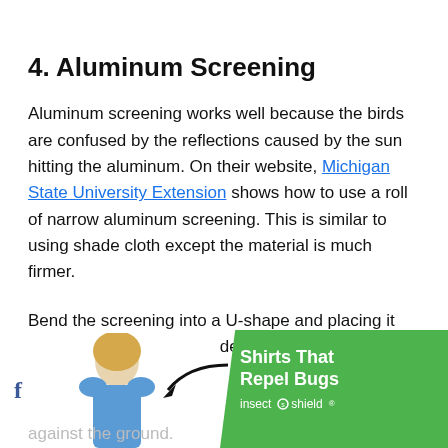4. Aluminum Screening
Aluminum screening works well because the birds are confused by the reflections caused by the sun hitting the aluminum. On their website, Michigan State University Extension shows how to use a roll of narrow aluminum screening. This is similar to using shade cloth except the material is much firmer.
Bend the screening into a U-shape and placing it over the seedbed to provide protection from
[Figure (photo): Advertisement banner with a woman in a blue shirt and a green background advertising 'Shirts That Repel Bugs' from Insect Shield, with a Facebook icon and an arrow graphic.]
against the ground.